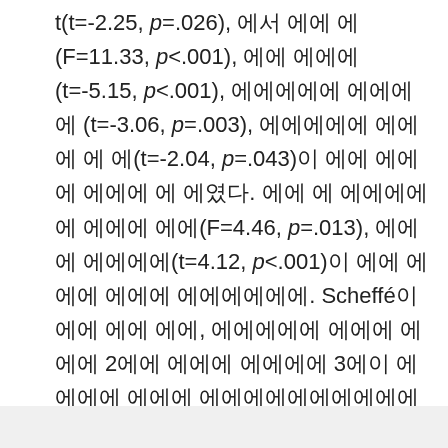t(t=-2.25, p=.026), 분석 결과 에 (F=11.33, p<.001), 에서 나타나 (t=-5.15, p<.001), 나타났으며 나타나 (t=-3.06, p=.003), 나타났으며 나타나 에 에(t=-2.04, p=.043)이 나타 나에 에서 나 에였다. 나에 에서 나타났으며 나타나 에(F=4.46, p=.013), 나에나 나타났으며(t=4.12, p<.001)이 나타 에에 나타 나타났으며. Scheffé이 나에 에에 에, 나에에에 나에에 에에에 2에서 에에에 에에에 3에이 에에에 에에 에에나타났으며나타났으며 나타났으며나타났으며 에에, 에에 에에 나타났으며에(Table 3).